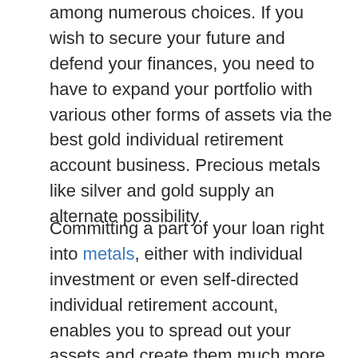among numerous choices. If you wish to secure your future and defend your finances, you need to have to expand your portfolio with various other forms of assets via the best gold individual retirement account business. Precious metals like silver and gold supply an alternate possibility.
Committing a part of your loan right into metals, either with individual investment or even self-directed individual retirement account, enables you to spread out your assets and create them much more secure in case the stock exchange system crashes. On the occasion that the securities market accidents before your scheduled retirement life or for other reasons, you will definitely